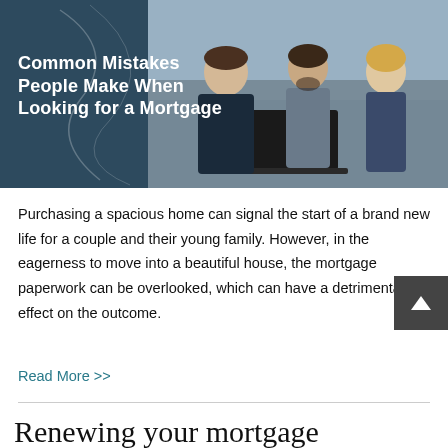[Figure (photo): Dark teal/navy banner image showing three people (two men and a woman) sitting at a desk with a laptop, appearing to discuss mortgage or financial documents. Bold white text on the left reads 'Common Mistakes People Make When Looking for a Mortgage'.]
Purchasing a spacious home can signal the start of a brand new life for a couple and their young family. However, in the eagerness to move into a beautiful house, the mortgage paperwork can be overlooked, which can have a detrimental effect on the outcome.
Read More >>
Renewing your mortgage